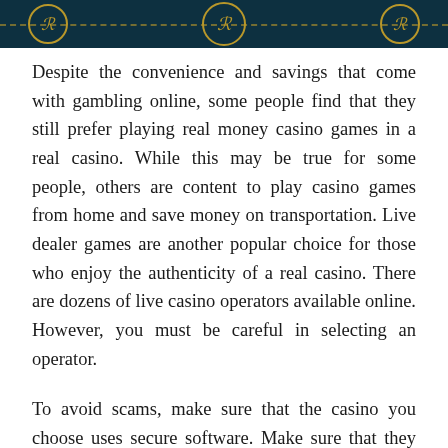[Figure (illustration): Dark teal/navy banner header with two circular coin symbols featuring ornate letter styling in gold, connected by a dashed gold line]
Despite the convenience and savings that come with gambling online, some people find that they still prefer playing real money casino games in a real casino. While this may be true for some people, others are content to play casino games from home and save money on transportation. Live dealer games are another popular choice for those who enjoy the authenticity of a real casino. There are dozens of live casino operators available online. However, you must be careful in selecting an operator.
To avoid scams, make sure that the casino you choose uses secure software. Make sure that they protect customer information by using safe payment companies. Additionally, you should look for a licensed casino that is not likely to close down with your money. Unlike unlicensed casinos, licensed online casinos are also highly secured and have sophisticated technology to make your online gambling experience safe and enjoyable. A licensed online casino will